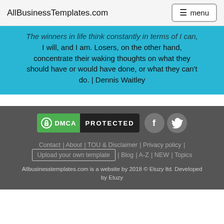AllBusinessTemplates.com | menu
The winners in life think constantly in terms of I can, I will, and I am. Losers, on the other hand, concentrate their waking thoughts on what they should have or would have done, or what they can't do. | Dennis Waitley
[Figure (logo): DMCA Protected badge with green lock icon and black PROTECTED text, plus Facebook and Twitter social media icons]
Contact | About | TOU & Disclaimer | Privacy policy | Upload your own template | Blog | A-Z | NEW | Topics
Allbusinesstemplates.com is a website by 2018 © Etuzy ltd. Developed by Etuzy